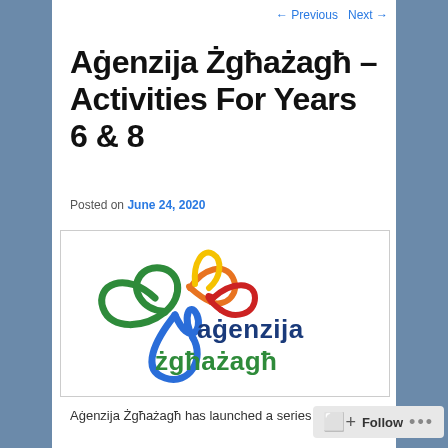← Previous   Next →
Aġenzija Żgħażagħ – Activities For Years 6 & 8
Posted on June 24, 2020
[Figure (logo): Aġenzija Żgħażagħ logo featuring a colorful flower-like ribbon design in green, blue, orange, yellow, and red, with the text 'aġenzija żgħażagħ' in green and dark blue.]
Aġenzija Żgħażagħ has launched a series of online initiatives